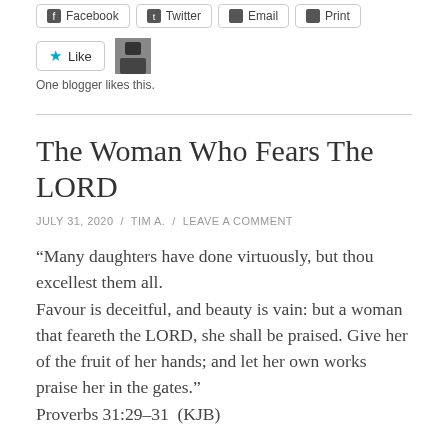[Figure (other): Social sharing buttons: Facebook, Twitter, Email, Print]
[Figure (other): Like button and blogger avatar thumbnail]
One blogger likes this.
The Woman Who Fears The LORD
JULY 31, 2020 / TIM A. / LEAVE A COMMENT
“Many daughters have done virtuously, but thou excellest them all. Favour is deceitful, and beauty is vain: but a woman that feareth the LORD, she shall be praised. Give her of the fruit of her hands; and let her own works praise her in the gates.” Proverbs 31:29-31 (KJB)